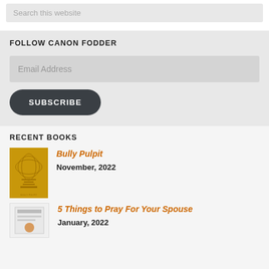Search this website
FOLLOW CANON FODDER
Email Address
SUBSCRIBE
RECENT BOOKS
Bully Pulpit
November, 2022
5 Things to Pray For Your Spouse
January, 2022